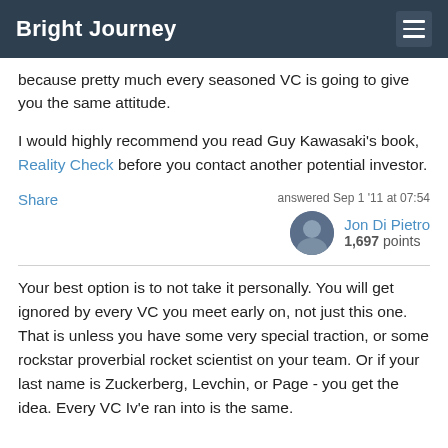Bright Journey
because pretty much every seasoned VC is going to give you the same attitude.
I would highly recommend you read Guy Kawasaki's book, Reality Check before you contact another potential investor.
Share
answered Sep 1 '11 at 07:54
Jon Di Pietro
1,697 points
Your best option is to not take it personally. You will get ignored by every VC you meet early on, not just this one. That is unless you have some very special traction, or some rockstar proverbial rocket scientist on your team. Or if your last name is Zuckerberg, Levchin, or Page - you get the idea. Every VC Iv'e ran into is the same.